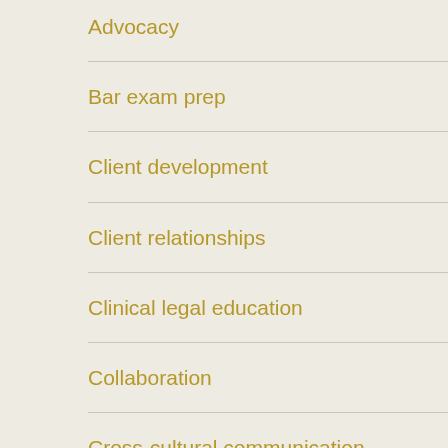Advocacy
Bar exam prep
Client development
Client relationships
Clinical legal education
Collaboration
Cross-cultural communication
Dispute resolution
Diversity
Emotional intelligence